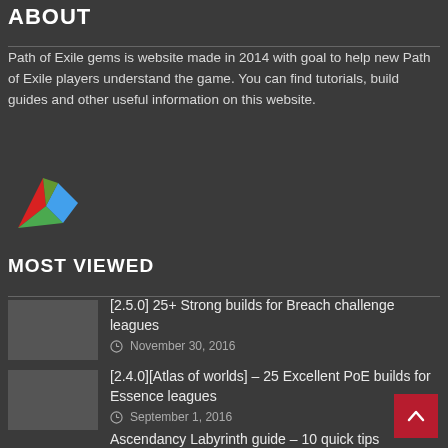ABOUT
Path of Exile gems is website made in 2014 with goal to help new Path of Exile players understand the game. You can find tutorials, build guides and other useful information on this website.
[Figure (logo): Colorful leaf/gem logo with red, green, and blue overlapping shapes]
MOST VIEWED
[2.5.0] 25+ Strong builds for Breach challenge leagues
November 30, 2016
[2.4.0][Atlas of worlds] – 25 Excellent PoE builds for Essence leagues
September 1, 2016
Ascendancy Labyrinth guide – 10 quick tips
March 22, 2016